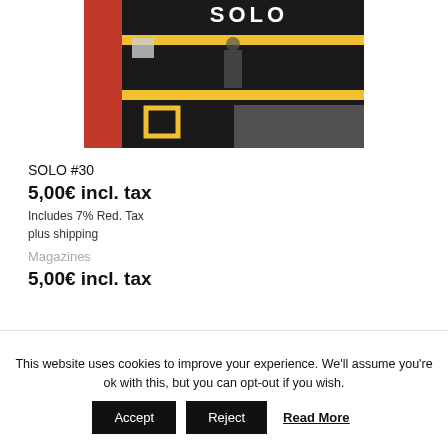[Figure (photo): Product photo of SOLO #30 magazine cover showing aerial/overhead view with yellow horizontal stripes across a dark surface, with a person visible, and 'SOLO' text at top. Red element on left side.]
SOLO #30
5,00€ incl. tax
Includes 7% Red. Tax
plus shipping
Magazines
5,00€ incl. tax
This website uses cookies to improve your experience. We'll assume you're ok with this, but you can opt-out if you wish.